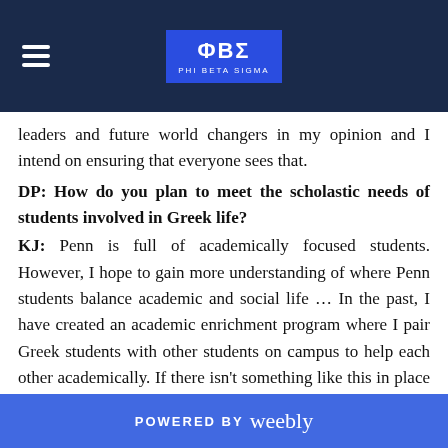ΦΒΣ PHI BETA SIGMA
leaders and future world changers in my opinion and I intend on ensuring that everyone sees that.
DP: How do you plan to meet the scholastic needs of students involved in Greek life?
KJ: Penn is full of academically focused students. However, I hope to gain more understanding of where Penn students balance academic and social life … In the past, I have created an academic enrichment program where I pair Greek students with other students on campus to help each other academically. If there isn't something like this in place already, I would like to start it
POWERED BY weebly